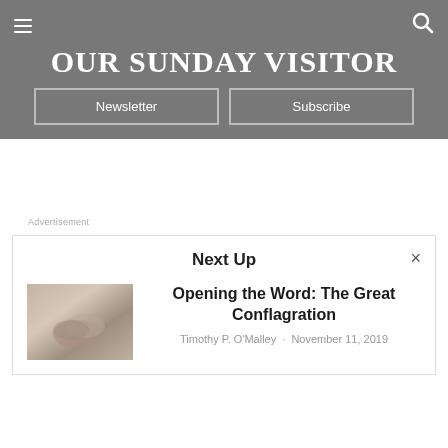OUR SUNDAY VISITOR
Newsletter  Subscribe
Advertisement
Next Up
Opening the Word: The Great Conflagration
Timothy P. O'Malley · November 11, 2019